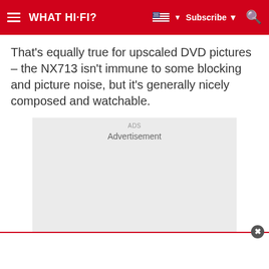WHAT HI-FI?
That's equally true for upscaled DVD pictures – the NX713 isn't immune to some blocking and picture noise, but it's generally nicely composed and watchable.
[Figure (other): Advertisement placeholder block with grey background and 'Advertisement' label text]